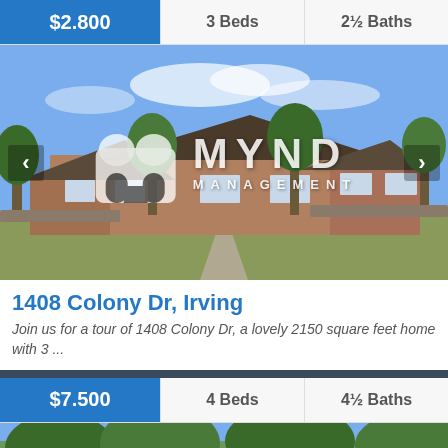$2.800
3 Beds
2½ Baths
[Figure (photo): Exterior photo of a single-story brick ranch home with large front yard and trees, overlaid with Mynd Management watermark logo]
1408 Colony Dr, Irving
Join us for a tour of 1408 Colony Dr, a lovely 2150 square feet home with 3 ...
$7.500
4 Beds
4½ Baths
[Figure (photo): Partial exterior photo of a second property listing with trees visible]